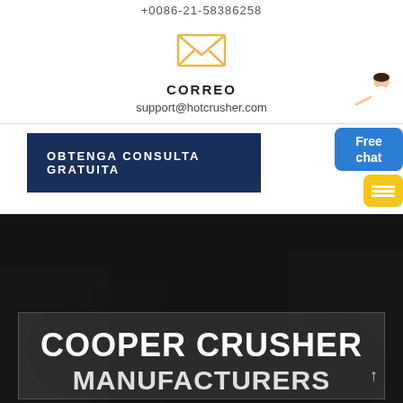+0086-21-58386258
[Figure (illustration): Yellow outline envelope / mail icon]
CORREO
support@hotcrusher.com
OBTENGA CONSULTA GRATUITA
COOPER CRUSHER
MANUFACTURERS